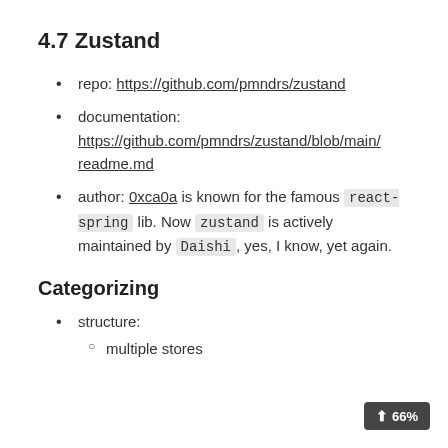4.7 Zustand
repo: https://github.com/pmndrs/zustand
documentation: https://github.com/pmndrs/zustand/blob/main/readme.md
author: 0xca0a is known for the famous react-spring lib. Now zustand is actively maintained by Daishi, yes, I know, yet again.
Categorizing
structure:
multiple stores